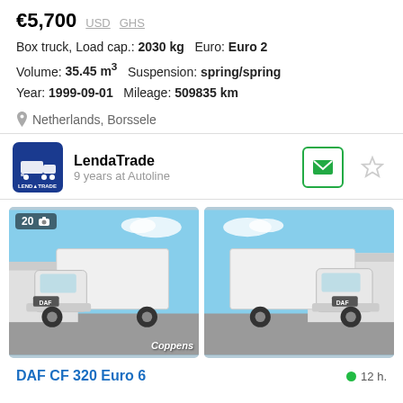€5,700  USD  GHS
Box truck, Load cap.: 2030 kg  Euro: Euro 2
Volume: 35.45 m³  Suspension: spring/spring
Year: 1999-09-01  Mileage: 509835 km
Netherlands, Borssele
LendaTrade
9 years at Autoline
[Figure (photo): White DAF box truck photographed from front-left angle in a parking lot, with badge showing 20 photos and camera icon. Watermark 'Coppens' visible.]
[Figure (photo): White DAF box truck photographed from front-right angle in a parking lot.]
DAF CF 320 Euro 6
12 h.